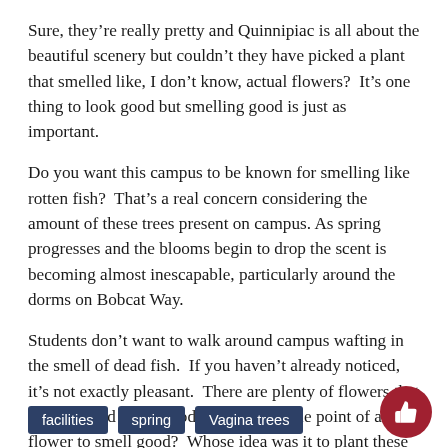Sure, they're really pretty and Quinnipiac is all about the beautiful scenery but couldn't they have picked a plant that smelled like, I don't know, actual flowers?  It's one thing to look good but smelling good is just as important.
Do you want this campus to be known for smelling like rotten fish?  That's a real concern considering the amount of these trees present on campus. As spring progresses and the blooms begin to drop the scent is becoming almost inescapable, particularly around the dorms on Bobcat Way.
Students don't want to walk around campus wafting in the smell of dead fish.  If you haven't already noticed, it's not exactly pleasant.  There are plenty of flowers that can look and smell good.  Isn't the whole point of a flower to smell good?  Whose idea was it to plant these trees?  Maybe Quinnipiac should invest in a new gardener.
facilities
spring
Vagina trees